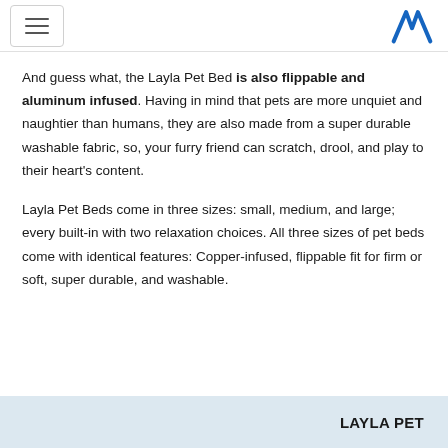[Navigation menu button and M logo]
And guess what, the Layla Pet Bed is also flippable and aluminum infused. Having in mind that pets are more unquiet and naughtier than humans, they are also made from a super durable washable fabric, so, your furry friend can scratch, drool, and play to their heart’s content.
Layla Pet Beds come in three sizes: small, medium, and large; every built-in with two relaxation choices. All three sizes of pet beds come with identical features: Copper-infused, flippable fit for firm or soft, super durable, and washable.
LAYLA PET